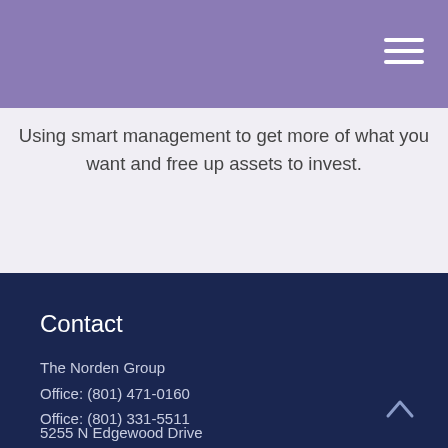Using smart management to get more of what you want and free up assets to invest.
Contact
The Norden Group
Office: (801) 471-0160
Office: (801) 331-5511
5255 N Edgewood Drive
Suite 225
Provo, UT 84604